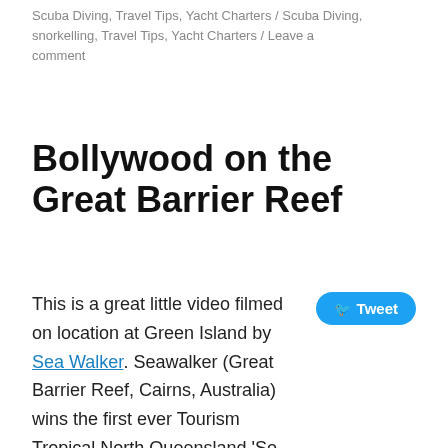Scuba Diving, Travel Tips, Yacht Charters / Scuba Diving, snorkelling, Travel Tips, Yacht Charters / Leave a comment
Bollywood on the Great Barrier Reef
This is a great little video filmed on location at Green Island by Sea Walker. Seawalker (Great Barrier Reef, Cairns, Australia) wins the first ever Tourism Tropical North Queensland 'So you think you can Bollywood' dance competition with this over the top or under water film....